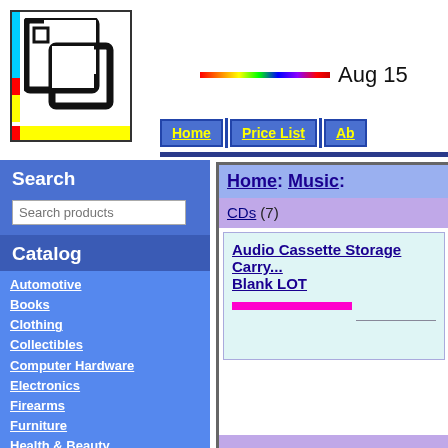[Figure (logo): CCS logo - colorful pixel-art style logo with colored borders]
Aug 15
Home
Price List
Ab...
Search
Search products
Catalog
Automotive
Books
Clothing
Collectibles
Computer Hardware
Electronics
Firearms
Furniture
Health & Beauty
Home & Garden
Jewelry
Motorcycle
Movies & Videos
Music
Home: Music:
CDs (7)
Audio Cassette Storage Carry... Blank LOT